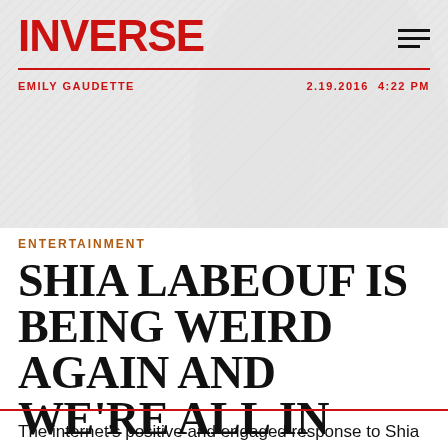INVERSE
EMILY GAUDETTE   2.19.2016 4:22 PM
ENTERTAINMENT
SHIA LABEOUF IS BEING WEIRD AGAIN AND WE'RE ALL IN
The child actor turned performance artist is riding an elevator for 24 hours.
The internet's positive and engaged response to Shia